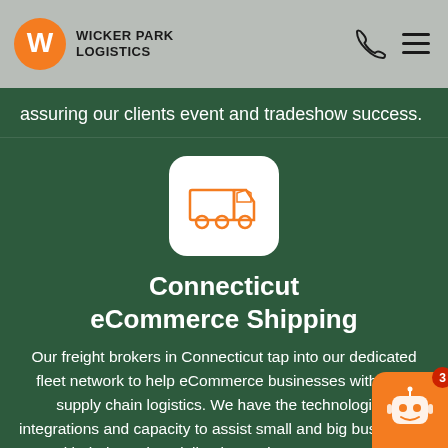Wicker Park Logistics
assuring our clients event and tradeshow success.
[Figure (illustration): White rounded square icon box containing an orange outline truck/freight vehicle icon]
Connecticut eCommerce Shipping
Our freight brokers in Connecticut tap into our dedicated fleet network to help eCommerce businesses with their supply chain logistics. We have the technological integrations and capacity to assist small and big businesses with their product deliveries and customer returns.
[Figure (illustration): Orange chatbot robot widget in bottom right corner with red badge showing number 3]